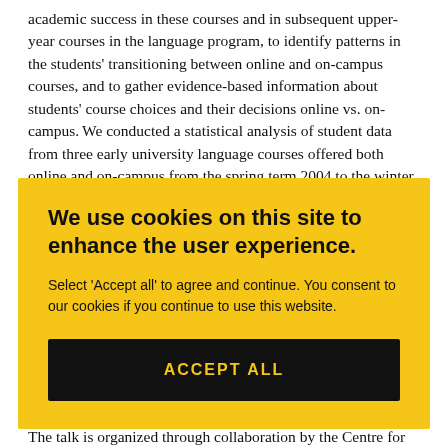academic success in these courses and in subsequent upper-year courses in the language program, to identify patterns in the students' transitioning between online and on-campus courses, and to gather evidence-based information about students' course choices and their decisions online vs. on-campus. We conducted a statistical analysis of student data from three early university language courses offered both online and on-campus from the spring term 2004 to the winter term 2014.
We use cookies on this site to enhance the user experience.

Select 'Accept all' to agree and continue. You consent to our cookies if you continue to use this website.

ACCEPT ALL
The talk is organized through collaboration by the Centre for